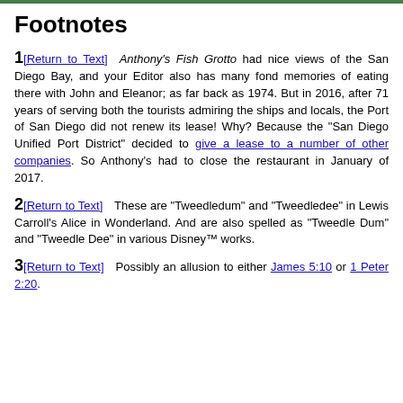Footnotes
1[Return to Text]  Anthony's Fish Grotto had nice views of the San Diego Bay, and your Editor also has many fond memories of eating there with John and Eleanor; as far back as 1974. But in 2016, after 71 years of serving both the tourists admiring the ships and locals, the Port of San Diego did not renew its lease! Why? Because the "San Diego Unified Port District" decided to give a lease to a number of other companies. So Anthony's had to close the restaurant in January of 2017.
2[Return to Text]  These are "Tweedledum" and "Tweedledee" in Lewis Carroll's Alice in Wonderland. And are also spelled as "Tweedle Dum" and "Tweedle Dee" in various Disney™ works.
3[Return to Text]  Possibly an allusion to either James 5:10 or 1 Peter 2:20.